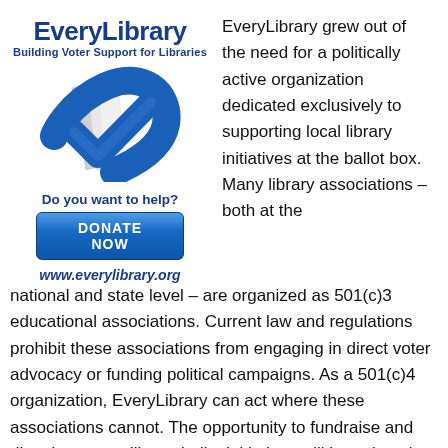[Figure (logo): EveryLibrary logo with blue checkmark/book icon, title 'EveryLibrary', subtitle 'Building Voter Support for Libraries', donate button and website URL]
EveryLibrary grew out of the need for a politically active organization dedicated exclusively to supporting local library initiatives at the ballot box. Many library associations – both at the national and state level – are organized as 501(c)3 educational associations. Current law and regulations prohibit these associations from engaging in direct voter advocacy or funding political campaigns. As a 501(c)4 organization, EveryLibrary can act where these associations cannot. The opportunity to fundraise and directly support library ballot initiatives will be unique in the library world.